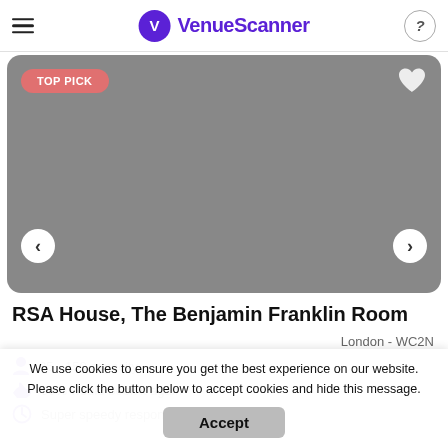VenueScanner
[Figure (photo): Grey placeholder image of a venue with TOP PICK badge, heart icon, and left/right navigation arrows]
RSA House, The Benjamin Franklin Room
London - WC2N
35 - 150 capacity
90% would book it again
Super speedy response
We use cookies to ensure you get the best experience on our website. Please click the button below to accept cookies and hide this message.
Accept